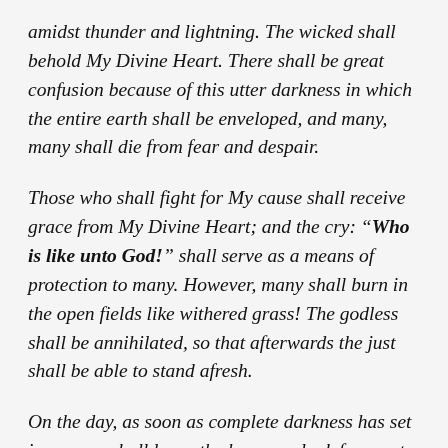amidst thunder and lightning. The wicked shall behold My Divine Heart. There shall be great confusion because of this utter darkness in which the entire earth shall be enveloped, and many, many shall die from fear and despair.
Those who shall fight for My cause shall receive grace from My Divine Heart; and the cry: "Who is like unto God!" shall serve as a means of protection to many. However, many shall burn in the open fields like withered grass! The godless shall be annihilated, so that afterwards the just shall be able to stand afresh.
On the day, as soon as complete darkness has set in, no one shall leave the house or look from out of